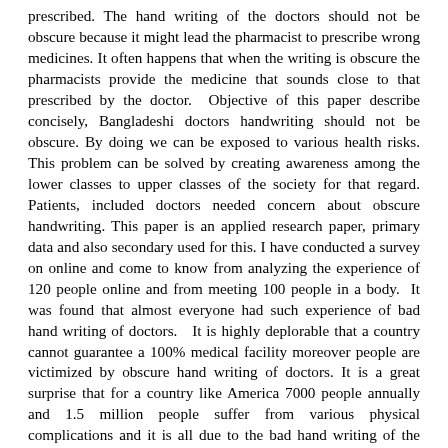prescribed. The hand writing of the doctors should not be obscure because it might lead the pharmacist to prescribe wrong medicines. It often happens that when the writing is obscure the pharmacists provide the medicine that sounds close to that prescribed by the doctor. Objective of this paper describe concisely, Bangladeshi doctors handwriting should not be obscure. By doing we can be exposed to various health risks. This problem can be solved by creating awareness among the lower classes to upper classes of the society for that regard. Patients, included doctors needed concern about obscure handwriting. This paper is an applied research paper, primary data and also secondary used for this. I have conducted a survey on online and come to know from analyzing the experience of 120 people online and from meeting 100 people in a body. It was found that almost everyone had such experience of bad hand writing of doctors. It is highly deplorable that a country cannot guarantee a 100% medical facility moreover people are victimized by obscure hand writing of doctors. It is a great surprise that for a country like America 7000 people annually and 1.5 million people suffer from various physical complications and it is all due to the bad hand writing of the prescriptions. At present, the literacy rate in Bangladesh is 72.9%. However, the rest 28 percent are uneducated. Therefore, they face grater problems because they cannot even read themself like the educated people. Who will think of the rest 28% population? The prescription of doctors remain obscure mostly the illiterate people and it is mostly in village